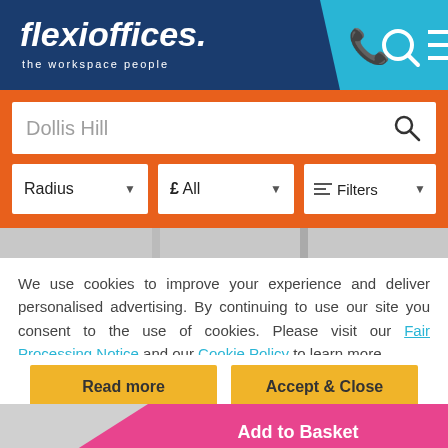[Figure (screenshot): Flexioffices website header with navy and cyan background, logo text 'flexioffices. the workspace people', and phone/search/menu icons]
[Figure (screenshot): Orange search bar with 'Dollis Hill' text input, search icon, and three filter dropdowns: Radius, £ All, Filters]
[Figure (screenshot): Image strip showing partial office photos]
We use cookies to improve your experience and deliver personalised advertising. By continuing to use our site you consent to the use of cookies. Please visit our Fair Processing Notice and our Cookie Policy to learn more.
[Figure (screenshot): Two yellow buttons: 'Read more' and 'Accept & Close']
[Figure (screenshot): Card with office thumbnail image, pink 'Add to Basket' button, and two buttons: 'Request Quote' (outlined orange) and 'View Details' (filled orange)]